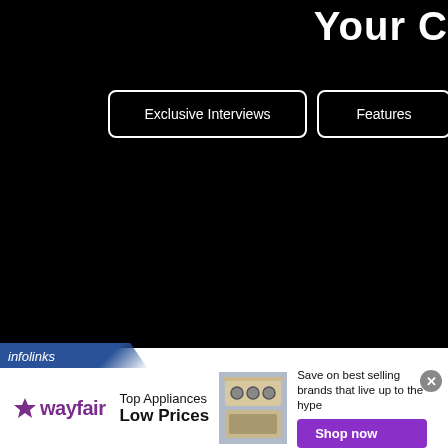Your C
Exclusive Interviews
Features
BOOM Crew
[Figure (screenshot): Black background navigation area of a media website]
infolinks
[Figure (infographic): Wayfair advertisement: Top Appliances Low Prices with image of a stove/range appliance. Text: Save on best selling brands that live up to the hype. Shop now button in purple. Close button (x) in top right.]